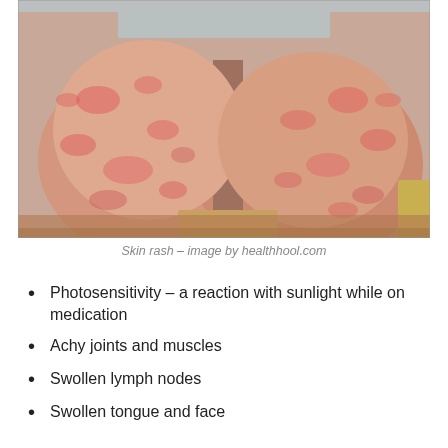[Figure (photo): Close-up photograph of two legs showing skin rash — reddened, blotchy, raised patches visible across both thighs against a light background.]
Skin rash – image by healthhool.com
Photosensitivity – a reaction with sunlight while on medication
Achy joints and muscles
Swollen lymph nodes
Swollen tongue and face